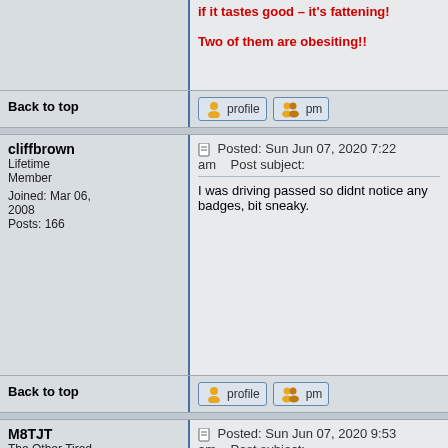if it tastes good – it's fattening! Two of them are obesiting!!
Back to top
cliffbrown
Lifetime Member
Joined: Mar 06, 2008
Posts: 166
Posted: Sun Jun 07, 2020 7:22 am    Post subject:
I was driving passed so didnt notice any badges, bit sneaky.
Back to top
M8TJT
The Other Tired Old Man
Verifier
Joined: Apr 04, 2006
Posts: 10118
Location: Bexhill, South Sussex, UK
Posted: Sun Jun 07, 2020 9:53 am    Post subject:
There is also a third point. A Kojak with a Kodak can set up just w